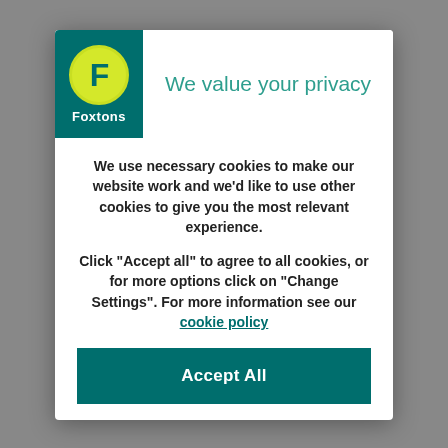[Figure (logo): Foxtons logo — dark teal square background with a yellow circle containing a bold teal F, and white text 'Foxtons' below]
We value your privacy
We use necessary cookies to make our website work and we'd like to use other cookies to give you the most relevant experience.
Click “Accept all” to agree to all cookies, or for more options click on “Change Settings”. For more information see our cookie policy
Accept All